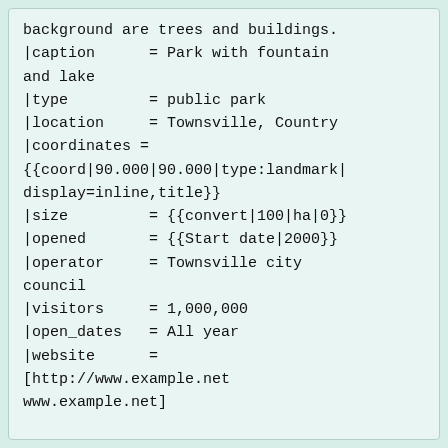background are trees and buildings.
|caption      = Park with fountain and lake
|type         = public park
|location     = Townsville, Country
|coordinates =
{{coord|90.000|90.000|type:landmark|display=inline,title}}
|size         = {{convert|100|ha|0}}
|opened       = {{Start date|2000}}
|operator     = Townsville city council
|visitors     = 1,000,000
|open_dates   = All year
|website      =
[http://www.example.net www.example.net]